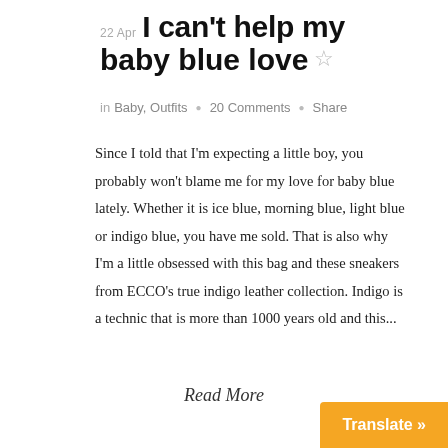22 Apr I can't help my baby blue love ☆
in Baby, Outfits • 20 Comments • Share
Since I told that I'm expecting a little boy, you probably won't blame me for my love for baby blue lately. Whether it is ice blue, morning blue, light blue or indigo blue, you have me sold. That is also why I'm a little obsessed with this bag and these sneakers from ECCO's true indigo leather collection. Indigo is a technic that is more than 1000 years old and this...
Read More